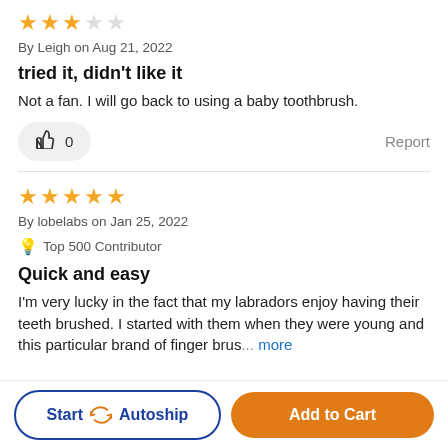★★★☆☆ (3 out of 5 stars)
By Leigh on Aug 21, 2022
tried it, didn't like it
Not a fan. I will go back to using a baby toothbrush.
👍 0   Report
★★★★★ (5 out of 5 stars)
By lobelabs on Jan 25, 2022
💡 Top 500 Contributor
Quick and easy
I'm very lucky in the fact that my labradors enjoy having their teeth brushed. I started with them when they were young and this particular brand of finger brus... more
Start 🔁 Autoship   Add to Cart